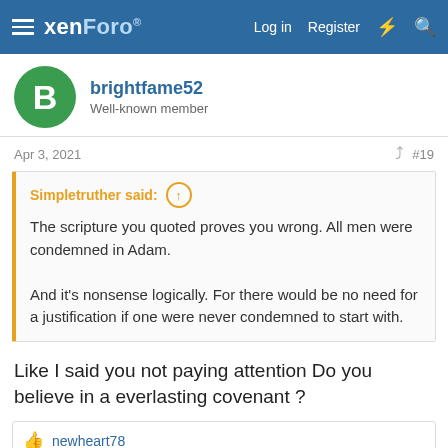xenForo — Log in  Register
brightfame52
Well-known member
Apr 3, 2021  #19
Simpletruther said:
The scripture you quoted proves you wrong. All men were condemned in Adam.

And it's nonsense logically. For there would be no need for a justification if one were never condemned to start with.
Like I said you not paying attention Do you believe in a everlasting covenant ?
newheart78
Simpletruther
Well-known member